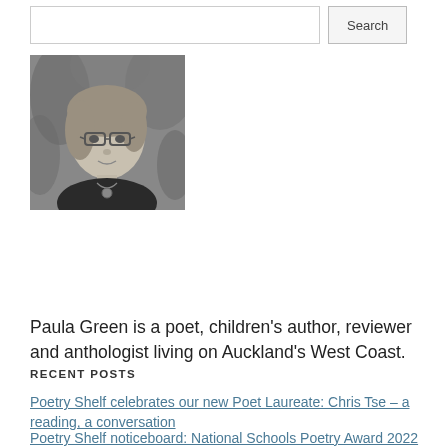[Figure (photo): Black and white portrait photo of Paula Green, a woman with short hair wearing glasses, a black top, and a pendant necklace, with foliage in the background.]
Paula Green is a poet, children's author, reviewer and anthologist living on Auckland's West Coast.
RECENT POSTS
Poetry Shelf celebrates our new Poet Laureate: Chris Tse – a reading, a conversation
Poetry Shelf noticeboard: National Schools Poetry Award 2022